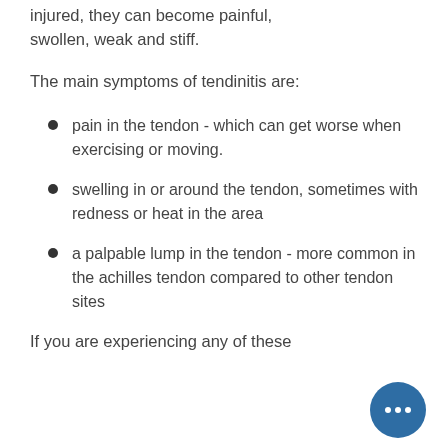injured, they can become painful, swollen, weak and stiff.
The main symptoms of tendinitis are:
pain in the tendon - which can get worse when exercising or moving.
swelling in or around the tendon, sometimes with redness or heat in the area
a palpable lump in the tendon - more common in the achilles tendon compared to other tendon sites
If you are experiencing any of these